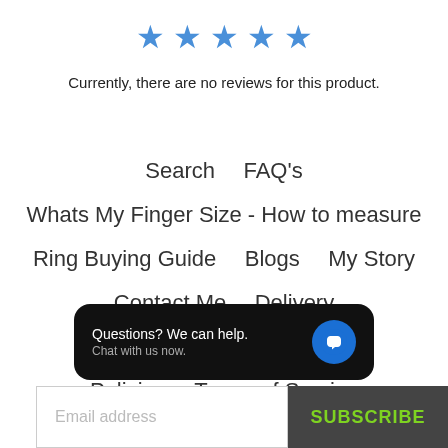[Figure (other): Five blue star icons in a row representing a star rating]
Currently, there are no reviews for this product.
Search
FAQ's
Whats My Finger Size - How to measure
Ring Buying Guide
Blogs
My Story
Contact Me
Delivery
Terms and Conditions
Policies
Terms of Service
Refund policy
[Figure (other): Chat widget popup with text 'Questions? We can help. Chat with us now.' and a blue chat bubble icon]
Email address
SUBSCRIBE